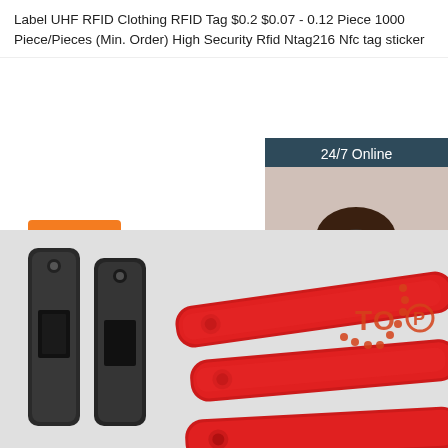Label UHF RFID Clothing RFID Tag $0.2 $0.07 - 0.12 Piece 1000 Piece/Pieces (Min. Order) High Security Rfid Ntag216 Nfc tag sticker
[Figure (other): Orange 'Get Price' button]
[Figure (other): Customer service chat widget with '24/7 Online' header, photo of female customer service representative wearing headset, 'Click here for free chat!' text, and orange QUOTATION button]
[Figure (photo): Product photo showing two black UHF RFID hard tags on the left and red RFID wristband/strap tags on the right, with a 'TOP' dotted badge watermark in the lower right]